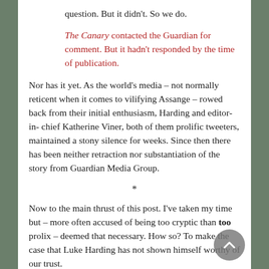question. But it didn't. So we do.
The Canary contacted the Guardian for comment. But it hadn't responded by the time of publication.
Nor has it yet. As the world's media – not normally reticent when it comes to vilifying Assange – rowed back from their initial enthusiasm, Harding and editor-in-chief Katherine Viner, both of them prolific tweeters, maintained a stony silence for weeks. Since then there has been neither retraction nor substantiation of the story from Guardian Media Group.
*
Now to the main thrust of this post. I've taken my time but – more often accused of being too cryptic than too prolix – deemed that necessary. How so? To make the case that Luke Harding has not shown himself worthy of our trust.